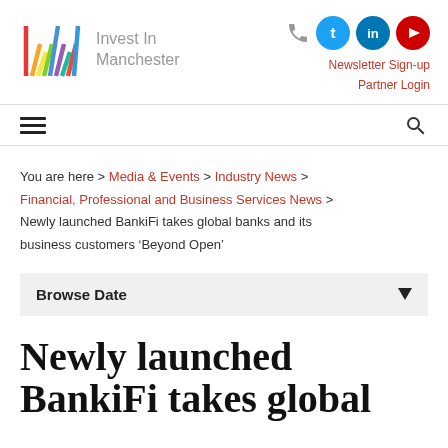[Figure (logo): Invest In Manchester logo with colourful M mark and grey text]
[Figure (infographic): Social media icons: phone, Twitter, LinkedIn, YouTube plus Newsletter Sign-up and Partner Login links in red]
Newsletter Sign-up
Partner Login
[Figure (infographic): Hamburger menu icon on left, search icon on right]
You are here > Media & Events > Industry News > Financial, Professional and Business Services News > Newly launched BankiFi takes global banks and its business customers ‘Beyond Open’
Browse Date
Newly launched BankiFi takes global